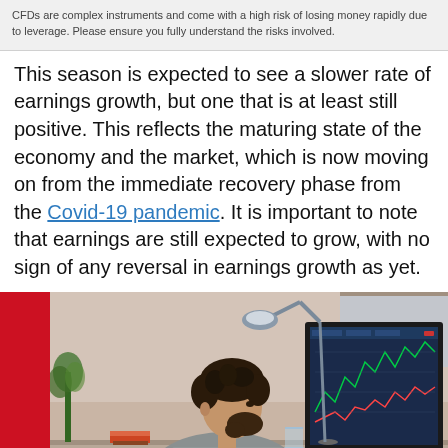CFDs are complex instruments and come with a high risk of losing money rapidly due to leverage. Please ensure you fully understand the risks involved.
This season is expected to see a slower rate of earnings growth, but one that is at least still positive. This reflects the maturing state of the economy and the market, which is now moving on from the immediate recovery phase from the Covid-19 pandemic. It is important to note that earnings are still expected to grow, with no sign of any reversal in earnings growth as yet.
[Figure (photo): A man with curly hair and a beard sits at a desk viewed from the side, looking at a large monitor displaying financial charts. A desk lamp is positioned above the monitor. A glass of water sits on the desk. There is a red vertical bar on the left edge of the image.]